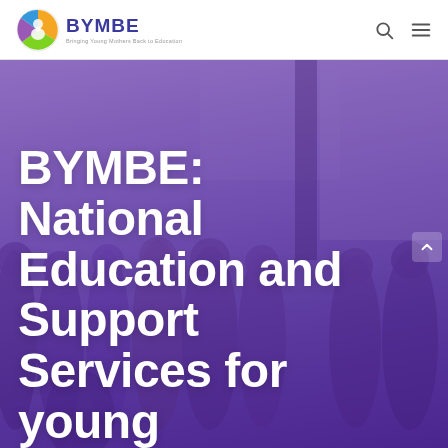BYMBE – Bringing Young Mothers Back to Education
[Figure (photo): Group photo of approximately 10 women standing together indoors, with a purple/violet color overlay on the image.]
BYMBE: National Education and Support Services for young